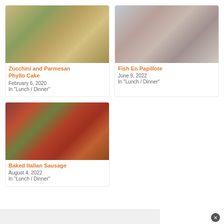[Figure (photo): Zucchini and Parmesan Phyllo Cake - layered pastry with green filling]
Zucchini and Parmesan Phyllo Cake
February 6, 2020
In "Lunch / Dinner"
[Figure (photo): Fish En Papillote - fish with lemon and nuts on foil]
Fish En Papillote
June 9, 2022
In "Lunch / Dinner"
[Figure (photo): Baked Italian Sausage with vegetables]
Baked Italian Sausage
August 4, 2022
In "Lunch / Dinner"